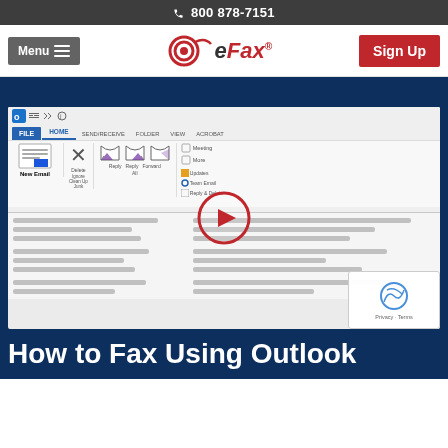800 878-7151
[Figure (screenshot): eFax website navigation bar with Menu button, eFax logo, and Sign Up button]
[Figure (screenshot): Screenshot of Microsoft Outlook ribbon interface with a video play button overlay showing HOME, SEND/RECEIVE, FOLDER, VIEW, ACROBAT tabs and New Email, Delete, Reply, Forward buttons]
How to Fax Using Outlook